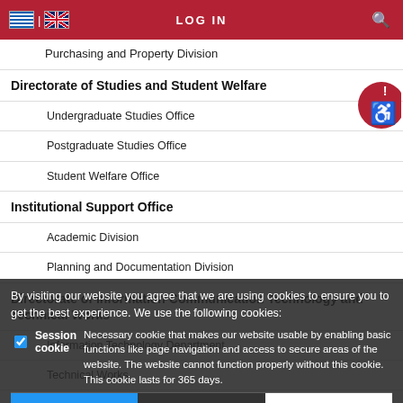LOG IN
Purchasing and Property Division
Directorate of Studies and Student Welfare
Undergraduate Studies Office
Postgraduate Studies Office
Student Welfare Office
Institutional Support Office
Academic Division
Planning and Documentation Division
Directorate of Information Communication Technology and Technical Works
Information Technology Department
Technical Works
Secretariats of the School Departments of the University
School of Economics, Business and International Studies
School of Shipping and Industry
School of Information Technology and Communications
Independent Offices and Committees
International and Public Relations
By visiting our website you agree that we are using cookies to ensure you to get the best experience. We use the following cookies: Necessary cookie that makes our website usable by enabling basic functions like page navigation and access to secure areas of the website. The website cannot function properly without this cookie. This cookie lasts for 365 days.
Session cookie
Accept | Decline | Read more